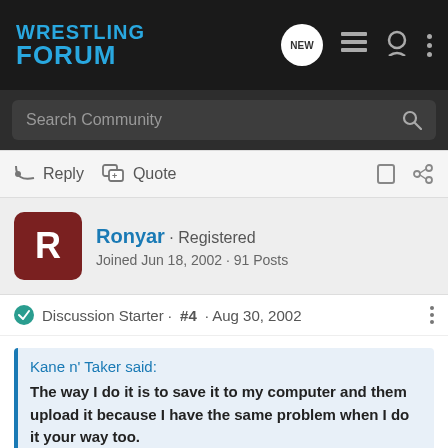WRESTLING FORUM
Search Community
Reply  Quote
Ronyar · Registered
Joined Jun 18, 2002 · 91 Posts
Discussion Starter · #4 · Aug 30, 2002
Kane n' Taker said:
The way I do it is to save it to my computer and them upload it because I have the same problem when I do it your way too.
ive tried uploading ones from my comp 2, same error
grace: it wont let me fit any of my jerichos